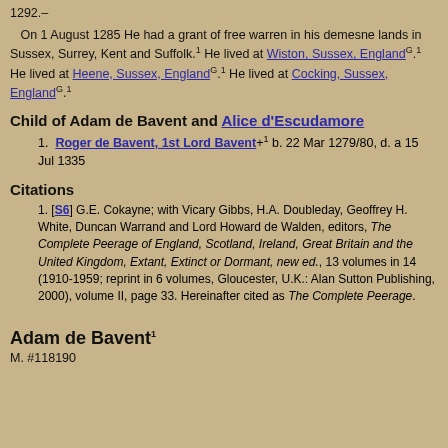1292.–
On 1 August 1285 He had a grant of free warren in his demesne lands in Sussex, Surrey, Kent and Suffolk.1 He lived at Wiston, Sussex, EnglandG.1 He lived at Heene, Sussex, EnglandG.1 He lived at Cocking, Sussex, EnglandG.1
Child of Adam de Bavent and Alice d'Escudamore
Roger de Bavent, 1st Lord Bavent+1 b. 22 Mar 1279/80, d. a 15 Jul 1335
Citations
[S6] G.E. Cokayne; with Vicary Gibbs, H.A. Doubleday, Geoffrey H. White, Duncan Warrand and Lord Howard de Walden, editors, The Complete Peerage of England, Scotland, Ireland, Great Britain and the United Kingdom, Extant, Extinct or Dormant, new ed., 13 volumes in 14 (1910-1959; reprint in 6 volumes, Gloucester, U.K.: Alan Sutton Publishing, 2000), volume II, page 33. Hereinafter cited as The Complete Peerage.
Adam de Bavent1
M. #118190